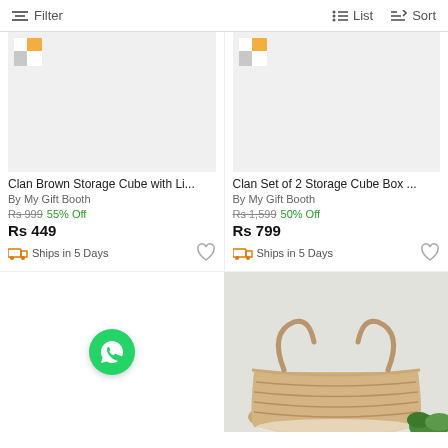Filter | List | Sort
[Figure (screenshot): Product listing placeholder image with logo icon for Clan Brown Storage Cube with Li...]
Clan Brown Storage Cube with Li...
By My Gift Booth
Rs 999  55% Off
Rs 449
Ships in 5 Days
[Figure (screenshot): Product listing placeholder image with logo icon for Clan Set of 2 Storage Cube Box...]
Clan Set of 2 Storage Cube Box ...
By My Gift Booth
Rs 1,599  50% Off
Rs 799
Ships in 5 Days
[Figure (photo): WhatsApp contact button icon (green circle with phone handset)]
[Figure (photo): Photo of a woven/rattan storage basket with handles on a light grey background, with some green plant visible]